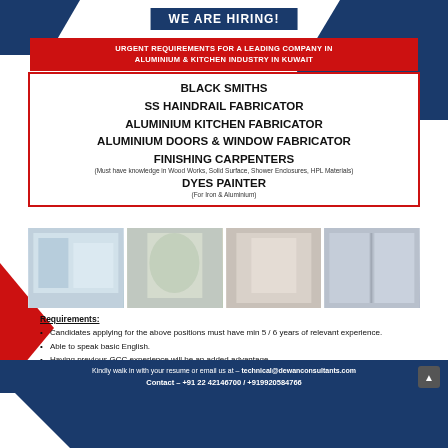WE ARE HIRING!
URGENT REQUIREMENTS FOR A LEADING COMPANY IN ALUMINIUM & KITCHEN INDUSTRY IN KUWAIT
BLACK SMITHS
SS HAINDRAIL FABRICATOR
ALUMINIUM KITCHEN FABRICATOR
ALUMINIUM DOORS & WINDOW FABRICATOR
FINISHING CARPENTERS (Must have knowledge in Wood Works, Solid Surface, Shower Enclosures, HPL Materials)
DYES PAINTER (For Iron & Aluminium)
[Figure (photo): Four photos showing aluminium/kitchen fabrication work: kitchen interior, aluminium doors/windows, decorative archway, staircase handrail]
Requirements:
Candidates applying for the above positions must have min 5 / 6 years of relevant experience.
Able to speak basic English.
Having previous GCC experience will be an added advantage.
Kindly walk in with your resume or email us at – technical@dewanconsultants.com
Contact – +91 22 42146700 / +919920584766